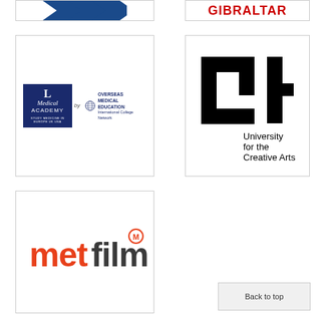[Figure (logo): Partial logo with chevron/arrow shapes in blue at top left]
[Figure (logo): GIBRALTAR text in bold red at top right]
[Figure (logo): London Medical Academy logo (dark blue box with serif text) by Overseas Medical Education logo]
[Figure (logo): University for the Creative Arts (UCA) logo in black geometric style]
[Figure (logo): metfilm logo in orange/red and dark grey with registered trademark symbol]
Back to top